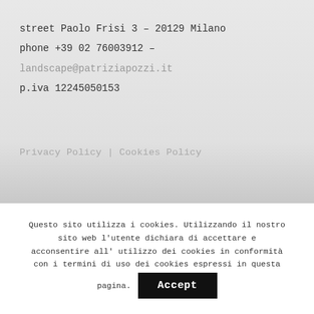street Paolo Frisi 3 – 20129 Milano
phone +39 02 76003912 –
landscape@patriziapozzi.it
p.iva 12245050153
Privacy Policy | Cookies Policy
Questo sito utilizza i cookies. Utilizzando il nostro sito web l'utente dichiara di accettare e acconsentire all' utilizzo dei cookies in conformità con i termini di uso dei cookies espressi in questa pagina.
Accept